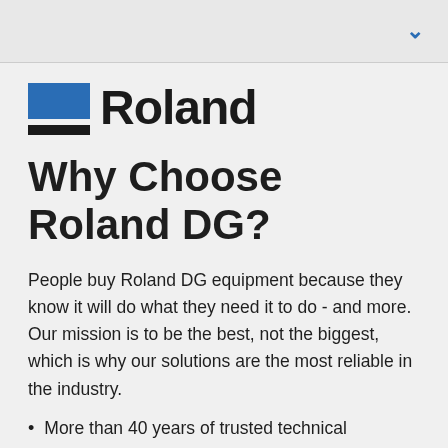[Figure (logo): Roland DG logo: blue rectangle and black horizontal bar beside the word Roland in bold black sans-serif text]
Why Choose Roland DG?
People buy Roland DG equipment because they know it will do what they need it to do - and more. Our mission is to be the best, not the biggest, which is why our solutions are the most reliable in the industry.
More than 40 years of trusted technical